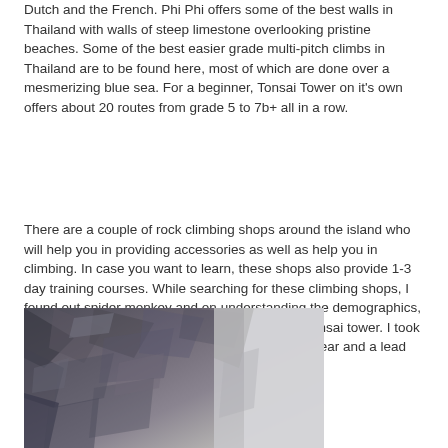Dutch and the French. Phi Phi offers some of the best walls in Thailand with walls of steep limestone overlooking pristine beaches. Some of the best easier grade multi-pitch climbs in Thailand are to be found here, most of which are done over a mesmerizing blue sea. For a beginner, Tonsai Tower on it's own offers about 20 routes from grade 5 to 7b+ all in a row.
There are a couple of rock climbing shops around the island who will help you in providing accessories as well as help you in climbing. In case you want to learn, these shops also provide 1-3 day training courses. While searching for these climbing shops, I found out spider monkey and on understanding the demographics, cost and difficulty levels, I decided to climb the Tonsai tower. I took the one day package of 2000 baht that included gear and a lead climber to belay me.
[Figure (photo): A photograph of steep limestone rock face/cliff used for rock climbing, showing textured grey and brown rock surface]